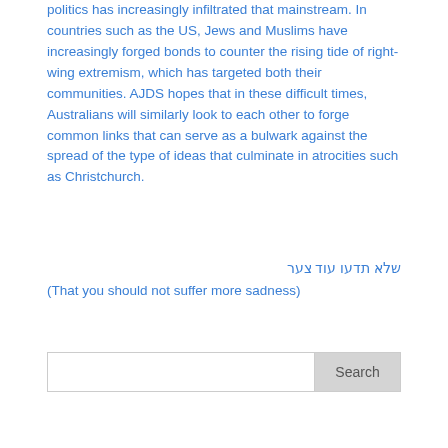politics has increasingly infiltrated that mainstream. In countries such as the US, Jews and Muslims have increasingly forged bonds to counter the rising tide of right-wing extremism, which has targeted both their communities. AJDS hopes that in these difficult times, Australians will similarly look to each other to forge common links that can serve as a bulwark against the spread of the type of ideas that culminate in atrocities such as Christchurch.
שלא תדעו עוד צער
(That you should not suffer more sadness)
[Figure (other): Search input box with Search button]